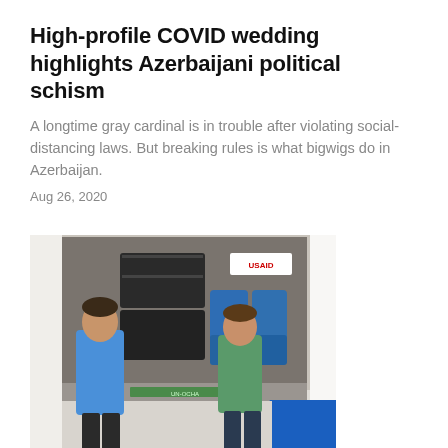High-profile COVID wedding highlights Azerbaijani political schism
A longtime gray cardinal is in trouble after violating social-distancing laws. But breaking rules is what bigwigs do in Azerbaijan.
Aug 26, 2020
[Figure (photo): Two women standing in front of a truck loaded with black equipment cases and blue containers, with a USAID logo visible]
Abkhazia calls for volunteers to help with COVID outbreak